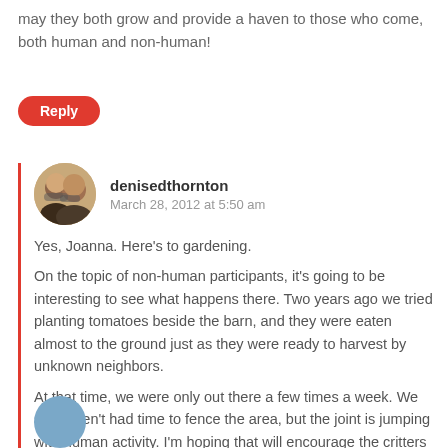may they both grow and provide a haven to those who come, both human and non-human!
Reply
denisedthornton
March 28, 2012 at 5:50 am
[Figure (photo): Circular avatar photo of two people]
Yes, Joanna. Here’s to gardening.
On the topic of non-human participants, it’s going to be interesting to see what happens there. Two years ago we tried planting tomatoes beside the barn, and they were eaten almost to the ground just as they were ready to harvest by unknown neighbors.
At that time, we were only out there a few times a week. We still haven’t had time to fence the area, but the joint is jumping with human activity. I’m hoping that will encourage the critters who took everything to look elsewhere.
I am willing to share, but I’d like some too.